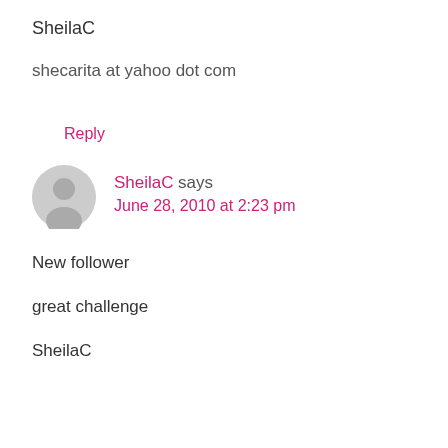SheilaC
shecarita at yahoo dot com
Reply
SheilaC says June 28, 2010 at 2:23 pm
New follower
great challenge
SheilaC